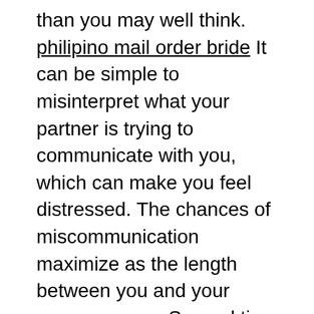than you may well think. philipino mail order bride It can be simple to misinterpret what your partner is trying to communicate with you, which can make you feel distressed. The chances of miscommunication maximize as the length between you and your spouse grows. Several tips to help you maintain a healthy long distance relationship. Initially, don't become overly attached. Aquiring a healthy marriage is all about communication.
Establishing up boundaries is vital for long-distance romantic relationships. It may be hard at the beginning to talk about your feelings, but having regular communication is vital. Try to set goals intended for the relationship as soon as